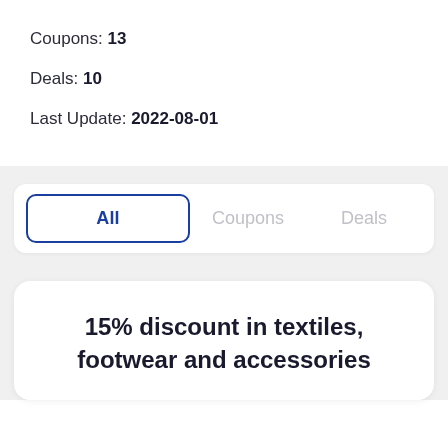Coupons: 13
Deals: 10
Last Update: 2022-08-01
All | Coupons | Deals
15% discount in textiles, footwear and accessories